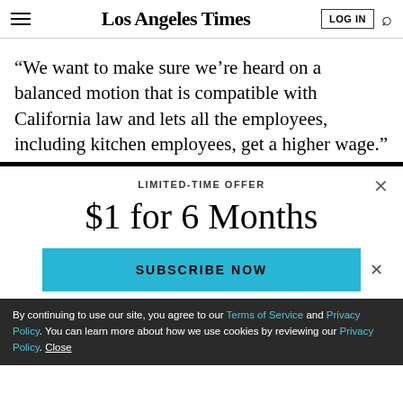Los Angeles Times
“We want to make sure we’re heard on a balanced motion that is compatible with California law and lets all the employees, including kitchen employees, get a higher wage.”
LIMITED-TIME OFFER
$1 for 6 Months
SUBSCRIBE NOW
By continuing to use our site, you agree to our Terms of Service and Privacy Policy. You can learn more about how we use cookies by reviewing our Privacy Policy. Close